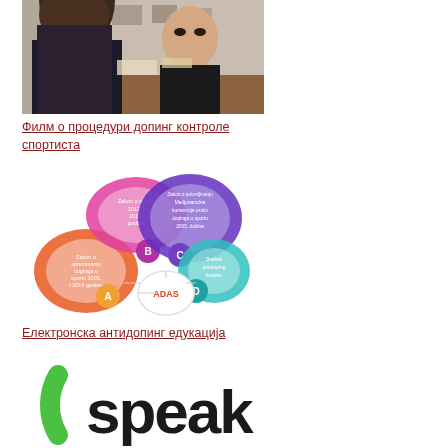[Figure (photo): Two people sitting at a table, one facing away with long brown hair wearing dark jacket, other facing camera in a doping control interview setting]
Филм о процедури допинг контроле спортиста
[Figure (infographic): Anti-doping education infographic with colored bubbles labeled A, B, C, D and ADAS, showing Zakon o sportu 2012 i 2016, Zakon o potvrdjivanju Medjunarodne konvencije u sportu 2005 i 2016, Svetski antidoping kodeks, Zakon o sprecavanju dopinga u sportu 2005 i 2014 godine]
Електронска антидопинг едукација
[Figure (logo): Speak logo - green arc and dark text reading 'speak']